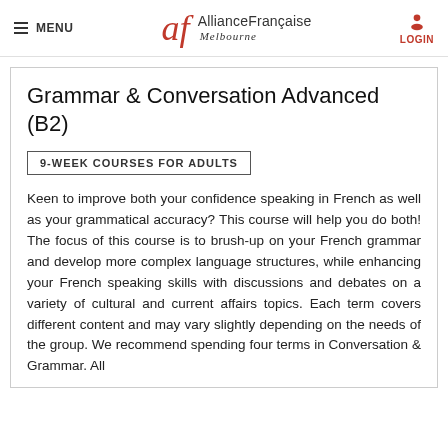MENU | Alliance Française Melbourne | LOGIN
Grammar & Conversation Advanced (B2)
9-WEEK COURSES FOR ADULTS
Keen to improve both your confidence speaking in French as well as your grammatical accuracy? This course will help you do both! The focus of this course is to brush-up on your French grammar and develop more complex language structures, while enhancing your French speaking skills with discussions and debates on a variety of cultural and current affairs topics. Each term covers different content and may vary slightly depending on the needs of the group. We recommend spending four terms in Conversation & Grammar. All